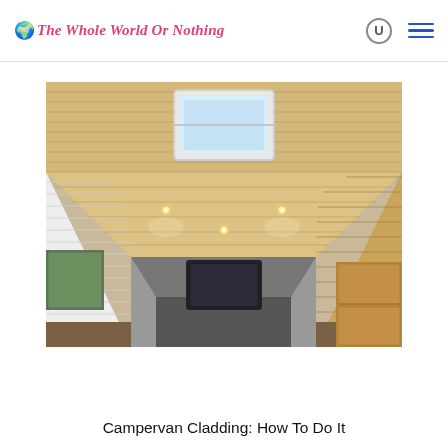The Whole World Or Nothing
[Figure (photo): Interior of a campervan showing wooden tongue-and-groove ceiling cladding with recessed spotlights and a skylight/roof vent, white horizontal cladding on the lower walls, wooden cabinet storage on the right, and the cab of the van visible in the background.]
Campervan Cladding: How To Do It